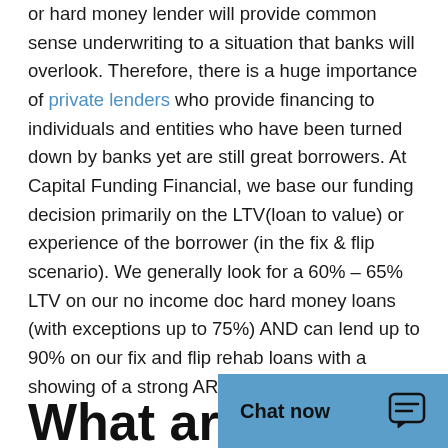or hard money lender will provide common sense underwriting to a situation that banks will overlook. Therefore, there is a huge importance of private lenders who provide financing to individuals and entities who have been turned down by banks yet are still great borrowers. At Capital Funding Financial, we base our funding decision primarily on the LTV(loan to value) or experience of the borrower (in the fix & flip scenario). We generally look for a 60% – 65% LTV on our no income doc hard money loans (with exceptions up to 75%) AND can lend up to 90% on our fix and flip rehab loans with a showing of a strong ARV(after repair value).
What are